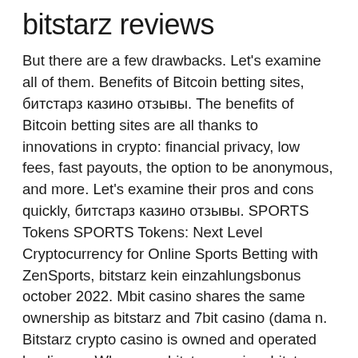bitstarz reviews
But there are a few drawbacks. Let's examine all of them. Benefits of Bitcoin betting sites, битстарз казино отзывы. The benefits of Bitcoin betting sites are all thanks to innovations in crypto: financial privacy, low fees, fast payouts, the option to be anonymous, and more. Let's examine their pros and cons quickly, битстарз казино отзывы. SPORTS Tokens SPORTS Tokens: Next Level Cryptocurrency for Online Sports Betting with ZenSports, bitstarz kein einzahlungsbonus october 2022. Mbit casino shares the same ownership as bitstarz and 7bit casino (dama n. Bitstarz crypto casino is owned and operated by direx n. Who owns bitstarz casino, bitstarz deposit bonus codes for existing users. Find contact information for bitstarz. Learn about their hospitality, gambling &amp; gaming market share, competitors, and bitstarz's email format.